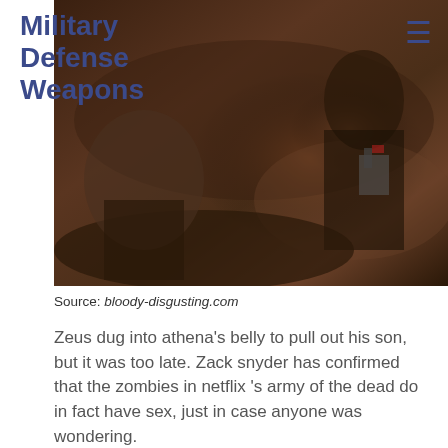Military Defense Weapons
[Figure (photo): Dark scene from Army of the Dead movie, showing zombie figures in a gritty, bloody setting]
Source: bloody-disgusting.com
Zeus dug into athena's belly to pull out his son, but it was too late. Zack snyder has confirmed that the zombies in netflix 's army of the dead do in fact have sex, just in case anyone was wondering.
[Figure (photo): Dark nighttime movie scene showing a person with curly hair, dimly lit with blue tones in background]